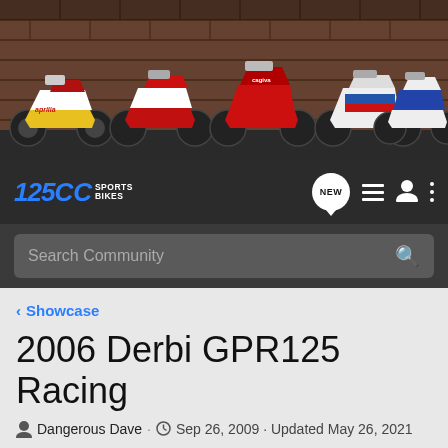[Figure (photo): Banner image showing multiple sport motorcycles including Aprilia and other brands lined up against a brick wall background]
125CC Sports Bikes - navigation bar with NEW chat bubble, list icon, user icon, and more options icon
Search Community
< Showcase
2006 Derbi GPR125 Racing
Dangerous Dave · Sep 26, 2009 · Updated May 26, 2021
+ Follow